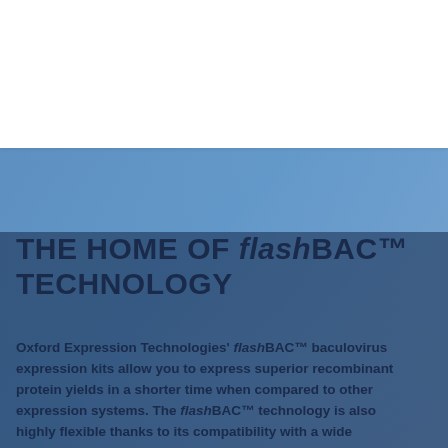[Figure (logo): Oxford Expression Technologies logo — blue square with red molecule cluster graphic on left, company name in dark blue text on right]
THE HOME OF flashBAC™ TECHNOLOGY
Oxford Expression Technologies' flashBAC™ baculovirus expression kits allow you to express superior recombinant protein yields in a shorter time when compared to other expression systems. The flashBAC™ technology is also highly flexible thanks to its compatibility with a wide